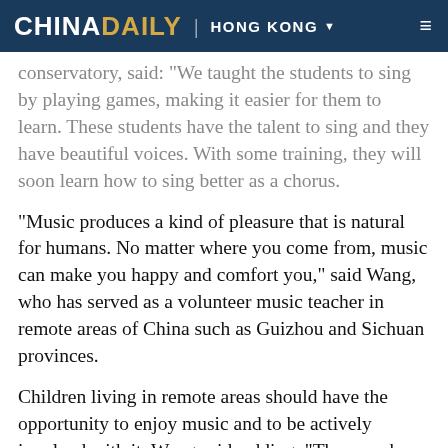CHINA DAILY | HONG KONG
conservatory, said: "We taught the students to sing by playing games, making it easier for them to learn. These students have the talent to sing and they have beautiful voices. With some training, they will soon learn how to sing better as a chorus.
"Music produces a kind of pleasure that is natural for humans. No matter where you come from, music can make you happy and comfort you," said Wang, who has served as a volunteer music teacher in remote areas of China such as Guizhou and Sichuan provinces.
Children living in remote areas should have the opportunity to enjoy music and to be actively involved with it, Wang said, adding, "They can have a lot of creative fun by singing together."
Since last year, 15 students and teachers from the